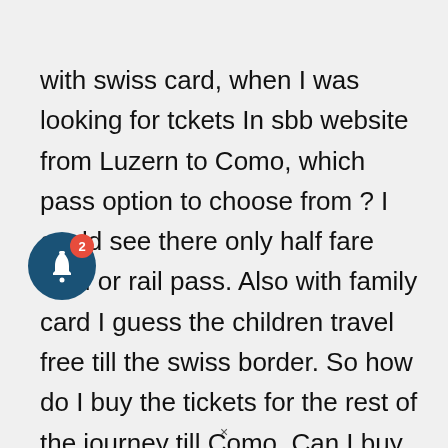with swiss card, when I was looking for tckets In sbb website from Luzern to Como, which pass option to choose from ? I could see there only half fare card or rail pass. Also with family card I guess the children travel free till the swiss border. So how do I buy the tickets for the rest of the journey till Como. Can I buy that frm n itself or we need to get down to the Swiss town of Chiasso and but tickets till como
[Figure (other): Notification bell button with dark blue background and a red badge showing the number 2]
×